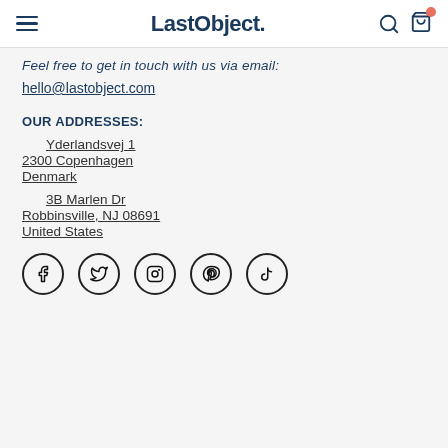LastObject.
Feel free to get in touch with us via email:
hello@lastobject.com
OUR ADDRESSES:
Yderlandsvej 1
2300 Copenhagen
Denmark
3B Marlen Dr
Robbinsville, NJ 08691
United States
[Figure (other): Social media icons: Facebook, Twitter, Instagram, Pinterest, TikTok]